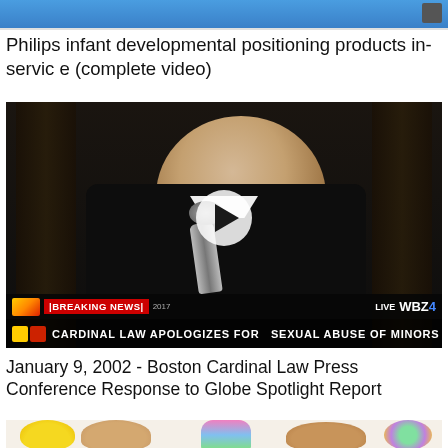[Figure (screenshot): Top portion of a video thumbnail with blue background, partially visible]
Philips infant developmental positioning products in-service (complete video)
[Figure (screenshot): Video thumbnail showing an elderly man at a podium speaking into a microphone. A TV news breaking news banner reads: BREAKING NEWS | CARDINAL LAW APOLOGIZES FOR SEXUAL ABUSE OF MINORS. Live WBZ4 bug visible. Play button overlay in center.]
January 9, 2002 - Boston Cardinal Law Press Conference Response to Globe Spotlight Report
[Figure (photo): Bottom portion of an image showing colorful children's pop-it toys and children's faces, partially visible]